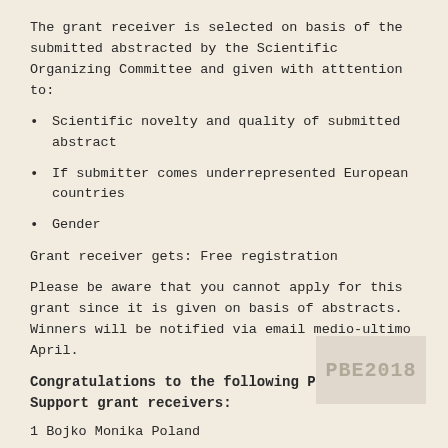The grant receiver is selected on basis of the submitted abstracted by the Scientific Organizing Committee and given with atttention to:
Scientific novelty and quality of submitted abstract
If submitter comes underrepresented European countries
Gender
Grant receiver gets: Free registration
Please be aware that you cannot apply for this grant since it is given on basis of abstracts. Winners will be notified via email medio-ultimo April.
Congratulations to the following PBE2018 Support grant receivers:
1 Bojko Monika Poland
2 Borba Ana Rita Portugal
3 Chua Alysha Ireland
4 Deepak Maya Finland
5 Dvorálová Iveta Czech Republic
[Figure (logo): PBE2018 logo watermark in light grey on beige background, bottom right corner]